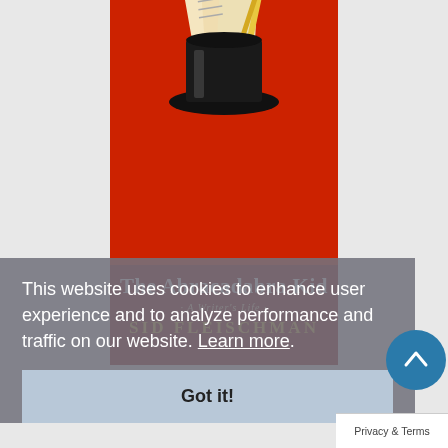[Figure (illustration): Book cover of 'The Abracadabra Kid: A Writer's Life' by Sid Fleischman. Red background with a black top hat containing papers/manuscript pages, title text in white, subtitle in gold italic, author name in gold capitals.]
This website uses cookies to enhance user experience and to analyze performance and traffic on our website. Learn more.
Got it!